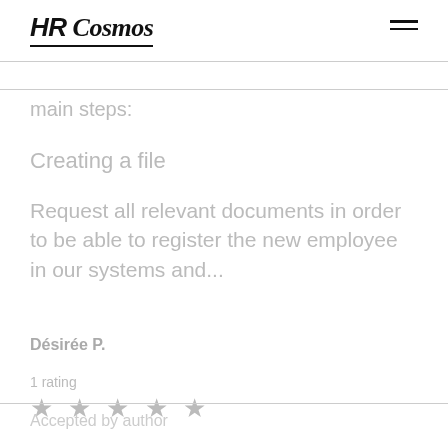HR Cosmos
main steps:
Creating a file
Request all relevant documents in order to be able to register the new employee in our systems and...
Désirée P.
1 rating
★ ★ ★ ★ ★
Accepted by author